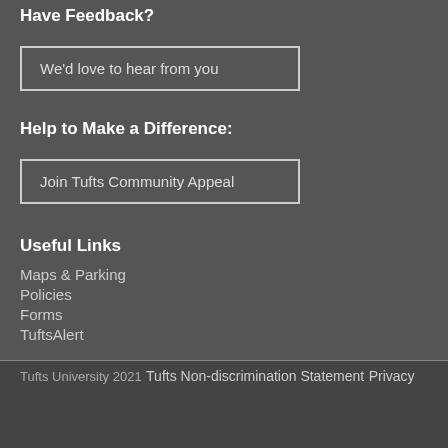Have Feedback?
We'd love to hear from you
Help to Make a Difference:
Join Tufts Community Appeal
Useful Links
Maps & Parking
Policies
Forms
TuftsAlert
Tufts University 2021
Tufts Non-discrimination Statement
Privacy